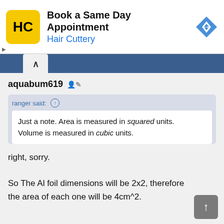[Figure (other): Hair Cuttery advertisement banner with yellow logo, text 'Book a Same Day Appointment / Hair Cuttery', and blue diamond navigation arrow icon]
aquabum619
ranger said: ↑
Just a note. Area is measured in squared units. Volume is measured in cubic units.
right, sorry.

So The Al foil dimensions will be 2x2, therefore the area of each one will be 4cm^2.